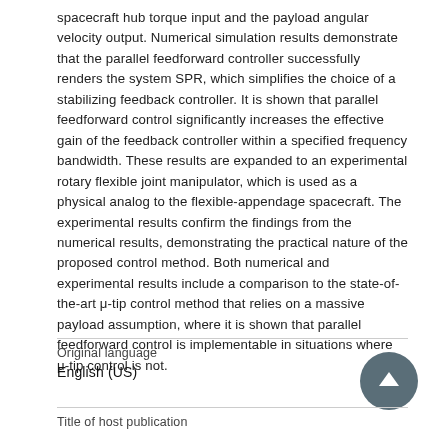spacecraft hub torque input and the payload angular velocity output. Numerical simulation results demonstrate that the parallel feedforward controller successfully renders the system SPR, which simplifies the choice of a stabilizing feedback controller. It is shown that parallel feedforward control significantly increases the effective gain of the feedback controller within a specified frequency bandwidth. These results are expanded to an experimental rotary flexible joint manipulator, which is used as a physical analog to the flexible-appendage spacecraft. The experimental results confirm the findings from the numerical results, demonstrating the practical nature of the proposed control method. Both numerical and experimental results include a comparison to the state-of-the-art μ-tip control method that relies on a massive payload assumption, where it is shown that parallel feedforward control is implementable in situations where μ-tip control is not.
Original language
English (US)
Title of host publication